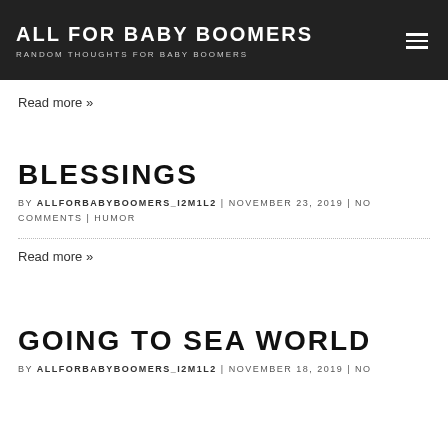ALL FOR BABY BOOMERS — RANDOM THOUGHTS FOR BABY BOOMERS
Read more »
BLESSINGS
BY ALLFORBABYBOOMERS_I2M1L2 | NOVEMBER 23, 2019 | NO COMMENTS | HUMOR
Read more »
GOING TO SEA WORLD
BY ALLFORBABYBOOMERS_I2M1L2 | NOVEMBER 18, 2019 | NO